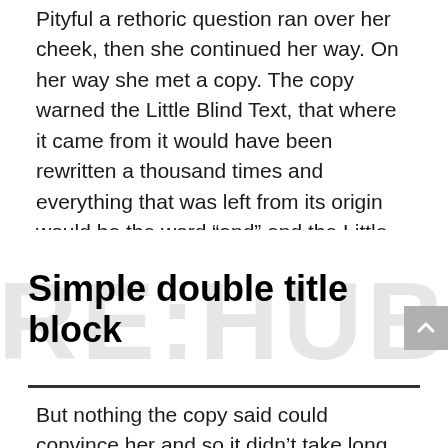Pityful a rethoric question ran over her cheek, then she continued her way. On her way she met a copy. The copy warned the Little Blind Text, that where it came from it would have been rewritten a thousand times and everything that was left from its origin would be the word “and” and the Little
Simple double title block
But nothing the copy said could convince her and so it didn’t take long until a few insidious Copy Writers ambushed her, made her drunk with Longe